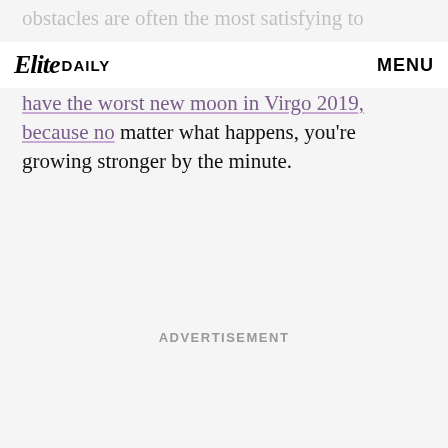Elite Daily | MENU
obstacles are often the most satisfying to overcome.
mind when I say these zodiac signs will have the worst new moon in Virgo 2019, because no matter what happens, you're growing stronger by the minute.
ADVERTISEMENT